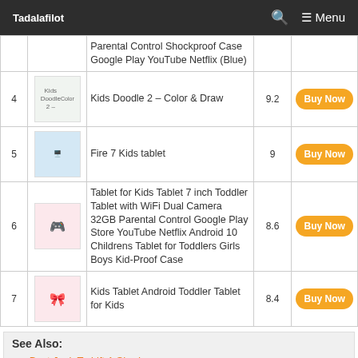Tadalafilot — Menu
| # | Image | Product | Score | Action |
| --- | --- | --- | --- | --- |
|  |  | Parental Control Shockproof Case Google Play YouTube Netflix (Blue) |  | Buy Now |
| 4 | Kids Doodle 2 – Color & Draw image | Kids Doodle 2 – Color & Draw | 9.2 | Buy Now |
| 5 | Fire 7 Kids tablet image | Fire 7 Kids tablet | 9 | Buy Now |
| 6 | Tablet for Kids image | Tablet for Kids Tablet 7 inch Toddler Tablet with WiFi Dual Camera 32GB Parental Control Google Play Store YouTube Netflix Android 10 Childrens Tablet for Toddlers Girls Boys Kid-Proof Case | 8.6 | Buy Now |
| 7 | Kids Tablet image | Kids Tablet Android Toddler Tablet for Kids | 8.4 | Buy Now |
See Also:
Best Jack To Lift A Shed